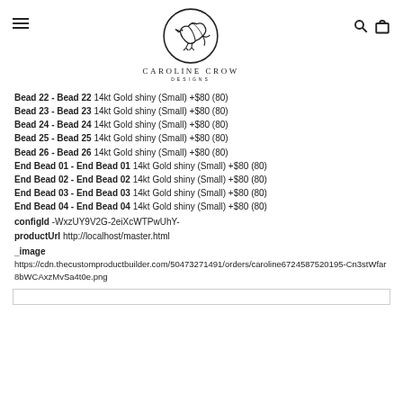Caroline Crow Designs
Bead 22 - Bead 22 14kt Gold shiny (Small) +$80 (80)
Bead 23 - Bead 23 14kt Gold shiny (Small) +$80 (80)
Bead 24 - Bead 24 14kt Gold shiny (Small) +$80 (80)
Bead 25 - Bead 25 14kt Gold shiny (Small) +$80 (80)
Bead 26 - Bead 26 14kt Gold shiny (Small) +$80 (80)
End Bead 01 - End Bead 01 14kt Gold shiny (Small) +$80 (80)
End Bead 02 - End Bead 02 14kt Gold shiny (Small) +$80 (80)
End Bead 03 - End Bead 03 14kt Gold shiny (Small) +$80 (80)
End Bead 04 - End Bead 04 14kt Gold shiny (Small) +$80 (80)
configId -WxzUY9V2G-2eiXcWTPwUhY-
productUrl http://localhost/master.html
_image
https://cdn.thecustomproductbuilder.com/50473271491/orders/caroline6724587520195-Cn3stWfar8bWCAxzMvSa4t0e.png